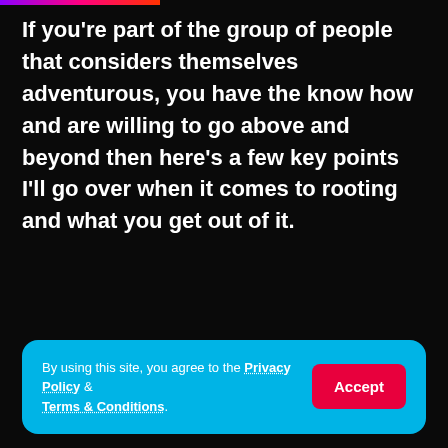If you're part of the group of people that considers themselves adventurous, you have the know how and are willing to go above and beyond then here's a few key points I'll go over when it comes to rooting and what you get out of it.
- Advertisement -
By using this site, you agree to the Privacy Policy & Terms & Conditions.